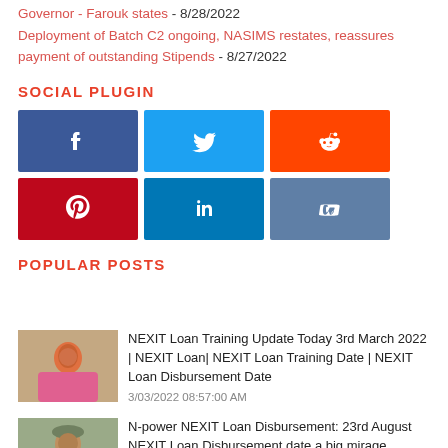Governor - Farouk states - 8/28/2022
Deployment of Batch C2 ongoing, NASIMS restates, reassures payment of outstanding Stipends - 8/27/2022
SOCIAL PLUGIN
[Figure (infographic): Social media share buttons: Facebook (blue), Twitter (light blue), Reddit (orange), Pinterest (red), LinkedIn (blue), VK (slate blue)]
POPULAR POSTS
[Figure (photo): Thumbnail of woman in pink outfit]
NEXIT Loan Training Update Today 3rd March 2022 | NEXIT Loan| NEXIT Loan Training Date | NEXIT Loan Disbursement Date
3/03/2022 08:57:00 AM
[Figure (photo): Thumbnail of woman with headscarf]
N-power NEXIT Loan Disbursement: 23rd August NEXIT Loan Disbursement date a big mirage